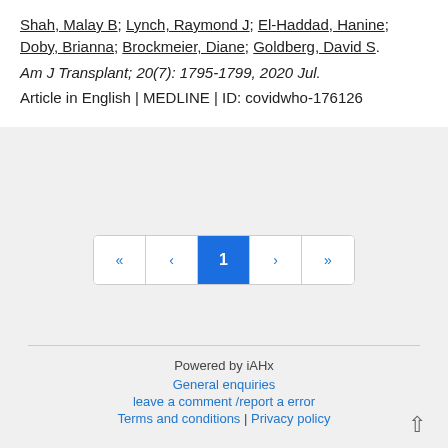Shah, Malay B; Lynch, Raymond J; El-Haddad, Hanine; Doby, Brianna; Brockmeier, Diane; Goldberg, David S.
Am J Transplant; 20(7): 1795-1799, 2020 Jul.
Article in English | MEDLINE | ID: covidwho-176126
[Figure (other): Pagination control with first, previous, page 1 (active), next, and last navigation buttons]
Powered by iAHx
General enquiries
leave a comment /report a error
Terms and conditions | Privacy policy